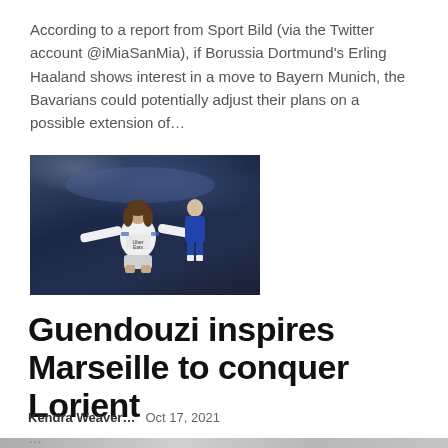According to a report from Sport Bild (via the Twitter account @iMiaSanMia), if Borussia Dortmund's Erling Haaland shows interest in a move to Bayern Munich, the Bavarians could potentially adjust their plans on a possible extension of...
[Figure (photo): A football player in a white Marseille Uber Eats jersey celebrating with arms outstretched in a stadium crowd, with a second player in a blue kit visible behind.]
Guendouzi inspires Marseille to conquer Lorient
Kendra Weaver...   Oct 17, 2021
...